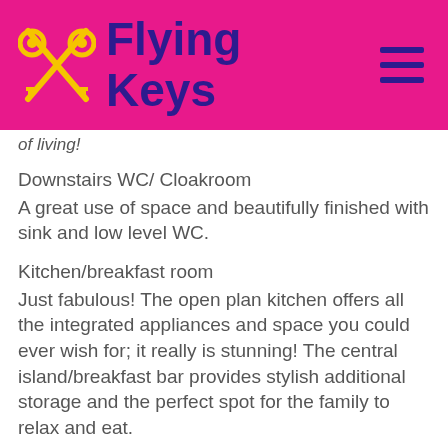Flying Keys
of living!
Downstairs WC/ Cloakroom
A great use of space and beautifully finished with sink and low level WC.
Kitchen/breakfast room
Just fabulous! The open plan kitchen offers all the integrated appliances and space you could ever wish for; it really is stunning! The central island/breakfast bar provides stylish additional storage and the perfect spot for the family to relax and eat.
Family Room
Just WOW — this space is undoubtably the